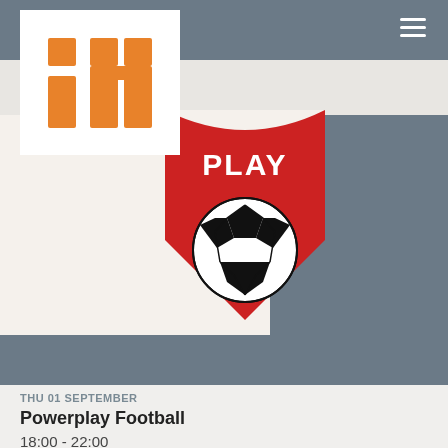[Figure (logo): Orange 'in' logo on white card background]
[Figure (logo): Red shield badge with 'PLAY' text and soccer ball icon]
[Figure (illustration): Hamburger menu icon (three horizontal white lines) on gray nav bar]
THU 01 SEPTEMBER
Powerplay Football
18:00 - 22:00